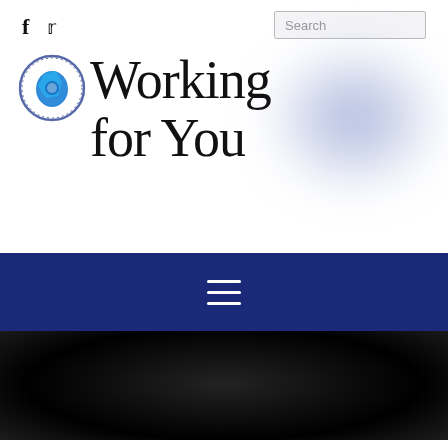[Figure (logo): Government seal/logo circle with blue state shape and text around border]
Working for You
Search
[Figure (illustration): Hamburger menu icon (three horizontal white lines) on dark navy background navigation bar]
[Figure (photo): Dark blurred photograph area, mostly black with dark grey gradients]